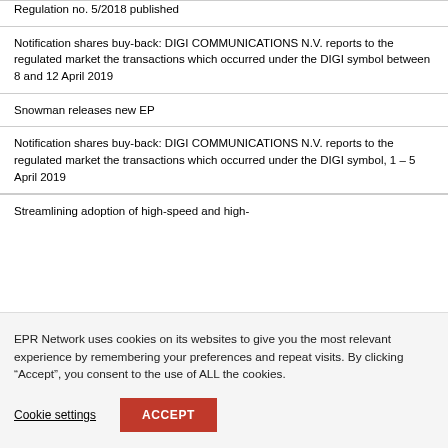Regulation no. 5/2018 published
Notification shares buy-back: DIGI COMMUNICATIONS N.V. reports to the regulated market the transactions which occurred under the DIGI symbol between 8 and 12 April 2019
Snowman releases new EP
Notification shares buy-back: DIGI COMMUNICATIONS N.V. reports to the regulated market the transactions which occurred under the DIGI symbol, 1 – 5 April 2019
Streamlining adoption of high-speed and high-
EPR Network uses cookies on its websites to give you the most relevant experience by remembering your preferences and repeat visits. By clicking “Accept”, you consent to the use of ALL the cookies.
Cookie settings   ACCEPT